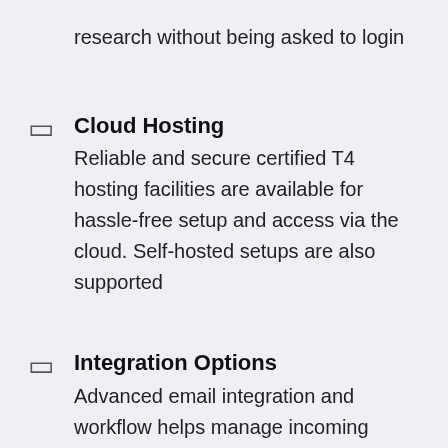research without being asked to login
Cloud Hosting
Reliable and secure certified T4 hosting facilities are available for hassle-free setup and access via the cloud. Self-hosted setups are also supported
Integration Options
Advanced email integration and workflow helps manage incoming requests.  A full Web JSON API is also available for integration with web forms